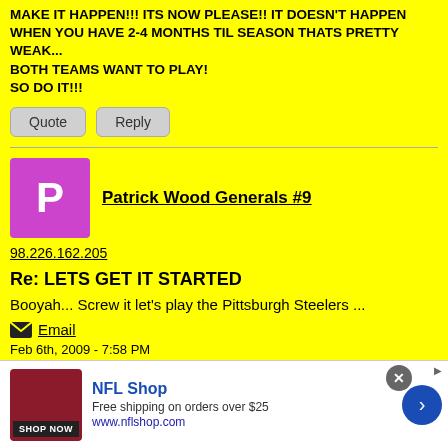MAKE IT HAPPEN!!! ITS NOW PLEASE!! IT DOESN'T HAPPEN WHEN YOU HAVE 2-4 MONTHS TIL SEASON THATS PRETTY WEAK... BOTH TEAMS WANT TO PLAY! SO DO IT!!!
Quote
Reply
Patrick Wood Generals #9
98.226.162.205
Re: LETS GET IT STARTED
Booyah... Screw it let's play the Pittsburgh Steelers ...
Email
Feb 6th, 2009 - 7:58 PM
[Figure (infographic): NFL Shop advertisement banner with shop now button, free shipping offer text, and navigation arrow]